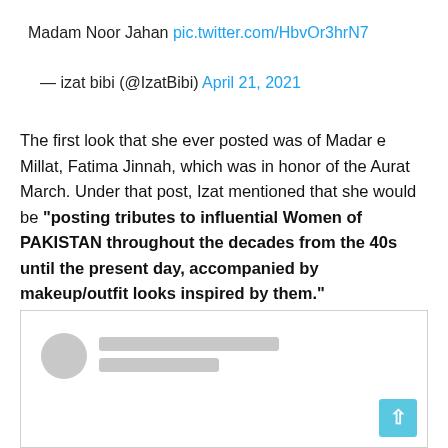Madam Noor Jahan pic.twitter.com/HbvOr3hrN7
— izat bibi (@IzatBibi) April 21, 2021
The first look that she ever posted was of Madar e Millat, Fatima Jinnah, which was in honor of the Aurat March. Under that post, Izat mentioned that she would be "posting tributes to influential Women of PAKISTAN throughout the decades from the 40s until the present day, accompanied by makeup/outfit looks inspired by them."
[Figure (screenshot): Screenshot of a social media post with blurred profile avatar and username lines, with a scroll-to-top button in the bottom right corner.]